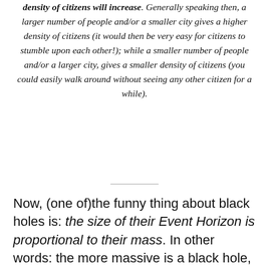density of citizens will increase. Generally speaking then, a larger number of people and/or a smaller city gives a higher density of citizens (it would then be very easy for citizens to stumble upon each other!); while a smaller number of people and/or a larger city, gives a smaller density of citizens (you could easily walk around without seeing any other citizen for a while).
Now, (one of)the funny thing about black holes is: the size of their Event Horizon is proportional to their mass. In other words: the more massive is a black hole, the larger it is. In particular, if we double the mass of a